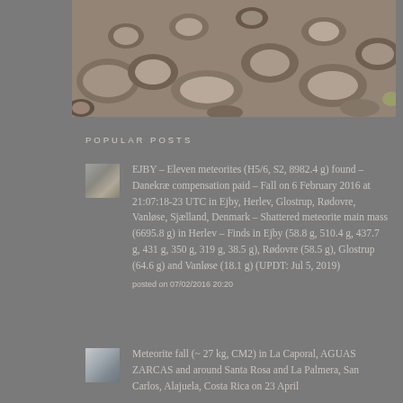[Figure (photo): Photo of rocks and gravel on the ground, appearing to be meteorite fragments or rocky terrain]
POPULAR POSTS
EJBY – Eleven meteorites (H5/6, S2, 8982.4 g) found – Danekræ compensation paid – Fall on 6 February 2016 at 21:07:18-23 UTC in Ejby, Herlev, Glostrup, Rødovre, Vanløse, Sjælland, Denmark – Shattered meteorite main mass (6695.8 g) in Herlev – Finds in Ejby (58.8 g, 510.4 g, 437.7 g, 431 g, 350 g, 319 g, 38.5 g), Rødovre (58.5 g), Glostrup (64.6 g) and Vanløse (18.1 g) (UPDT: Jul 5, 2019)
posted on 07/02/2016 20:20
Meteorite fall (~ 27 kg, CM2) in La Caporal, AGUAS ZARCAS and around Santa Rosa and La Palmera, San Carlos, Alajuela, Costa Rica on 23 April